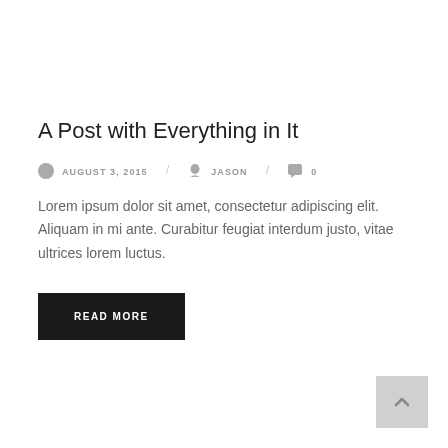A Post with Everything in It
AUGUST 3, 2015 / JASON / 0
Lorem ipsum dolor sit amet, consectetur adipiscing elit. Aliquam in mi ante. Curabitur feugiat interdum justo, vitae ultrices lorem luctus.
READ MORE